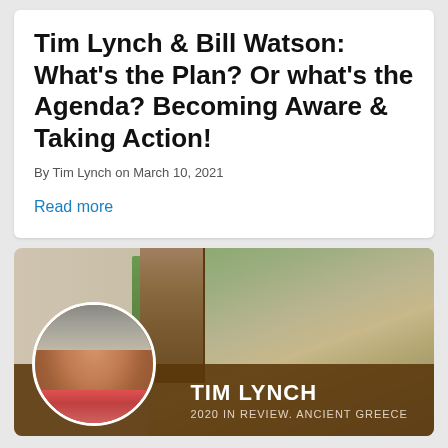Tim Lynch & Bill Watson: What's the Plan? Or what's the Agenda? Becoming Aware & Taking Action!
By Tim Lynch on March 10, 2021
Read more
[Figure (photo): Banner image for Tim Lynch featuring a circular portrait of Tim Lynch (older man with grey hair, smiling, wearing a pink floral shirt), a Maori wooden carving panel, and ancient Greek ruins in the background. A brown bar at the bottom reads 'TIM LYNCH' and '2020 IN REVIEW. ANCIENT GREECE'.]
TIM LYNCH
2020 IN REVIEW. ANCIENT GREECE